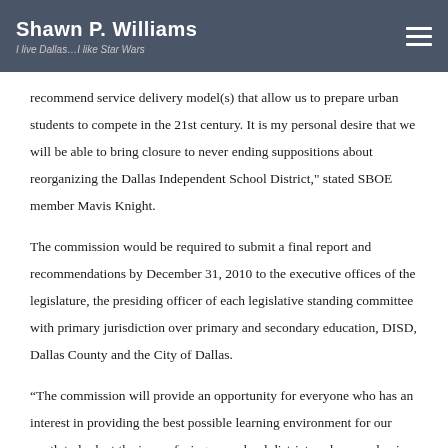Shawn P. Williams — I live Dallas…I like Star Wars
recommend service delivery model(s) that allow us to prepare urban students to compete in the 21st century. It is my personal desire that we will be able to bring closure to never ending suppositions about reorganizing the Dallas Independent School District," stated SBOE member Mavis Knight.
The commission would be required to submit a final report and recommendations by December 31, 2010 to the executive offices of the legislature, the presiding officer of each legislative standing committee with primary jurisdiction over primary and secondary education, DISD, Dallas County and the City of Dallas.
“The commission will provide an opportunity for everyone who has an interest in providing the best possible learning environment for our youth to look at the issues facing our school district such as academic performance, governance and equity of resources and to determine whether we can better achieve our